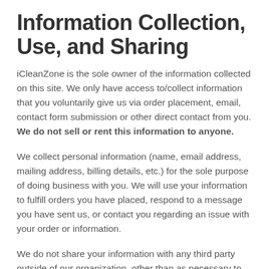Information Collection, Use, and Sharing
iCleanZone is the sole owner of the information collected on this site. We only have access to/collect information that you voluntarily give us via order placement, email, contact form submission or other direct contact from you. We do not sell or rent this information to anyone.
We collect personal information (name, email address, mailing address, billing details, etc.) for the sole purpose of doing business with you. We will use your information to fulfill orders you have placed, respond to a message you have sent us, or contact you regarding an issue with your order or information.
We do not share your information with any third party outside of our organization, other than as necessary to